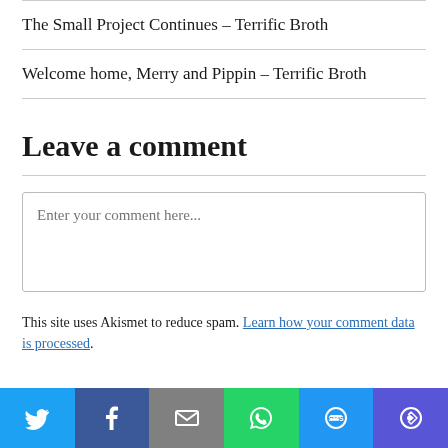The Small Project Continues – Terrific Broth
Welcome home, Merry and Pippin – Terrific Broth
Leave a comment
Enter your comment here...
This site uses Akismet to reduce spam. Learn how your comment data is processed.